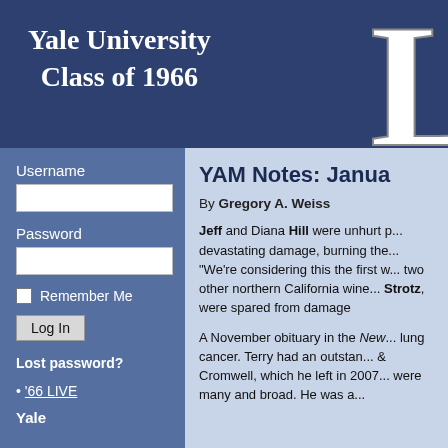Yale University Class of 1966
[Figure (logo): Large decorative letter 'L' in white with shadow on dark blue background header]
Username
Password
Remember Me
Log In
Lost password?
• '66 LIVE
Yale
YAM Notes: Janua
By Gregory A. Weiss
Jeff and Diana Hill were unhurt p... devastating damage, burning the... "We're considering this the first w... two other northern California wine... Strotz, were spared from damage
A November obituary in the New... lung cancer. Terry had an outstan... & Cromwell, which he left in 2007... were many and broad. He was a...